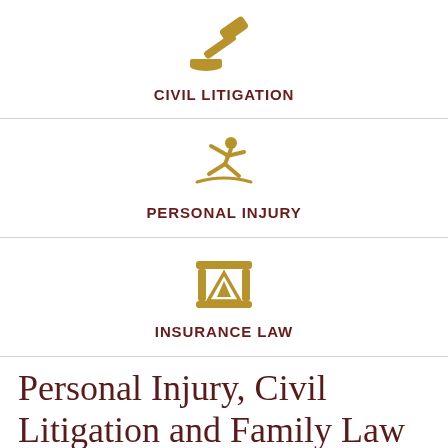[Figure (illustration): Golden gavel icon above label CIVIL LITIGATION]
CIVIL LITIGATION
[Figure (illustration): Golden falling/slipping person icon above label PERSONAL INJURY]
PERSONAL INJURY
[Figure (illustration): Golden scales/balance icon above label INSURANCE LAW]
INSURANCE LAW
Personal Injury, Civil Litigation and Family Law Advocacy in